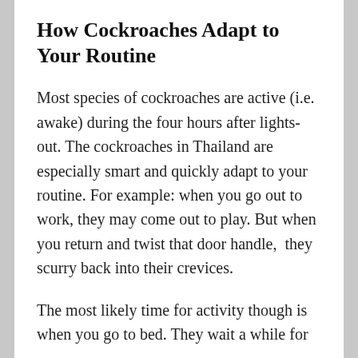How Cockroaches Adapt to Your Routine
Most species of cockroaches are active (i.e. awake) during the four hours after lights-out. The cockroaches in Thailand are especially smart and quickly adapt to your routine. For example: when you go out to work, they may come out to play. But when you return and twist that door handle,  they scurry back into their crevices.
The most likely time for activity though is when you go to bed. They wait a while for